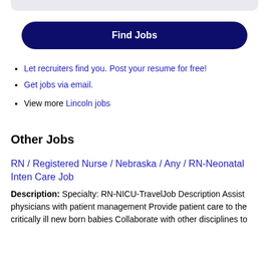Let recruiters find you. Post your resume for free!
Get jobs via email.
View more Lincoln jobs
Other Jobs
RN / Registered Nurse / Nebraska / Any / RN-Neonatal Inten Care Job
Description: Specialty: RN-NICU-TravelJob Description Assist physicians with patient management Provide patient care to the critically ill new born babies Collaborate with other disciplines to